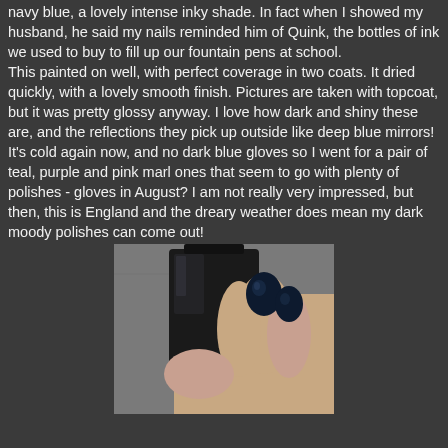navy blue, a lovely intense inky shade. In fact when I showed my husband, he said my nails reminded him of Quink, the bottles of ink we used to buy to fill up our fountain pens at school.
This painted on well, with perfect coverage in two coats. It dried quickly, with a lovely smooth finish. Pictures are taken with topcoat, but it was pretty glossy anyway. I love how dark and shiny these are, and the reflections they pick up outside like deep blue mirrors!
It's cold again now, and no dark blue gloves so I went for a pair of teal, purple and pink marl ones that seem to go with plenty of polishes - gloves in August? I am not really very impressed, but then, this is England and the dreary weather does mean my dark moody polishes can come out!
[Figure (photo): Close-up photo of a hand holding a dark navy/black nail polish bottle. The nails are painted a deep dark navy blue, very shiny. The bottle appears rectangular and black. The background is grey/concrete.]